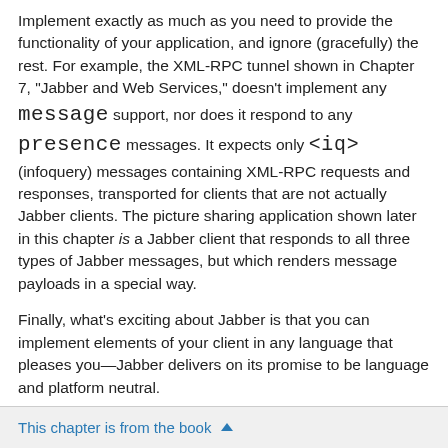Implement exactly as much as you need to provide the functionality of your application, and ignore (gracefully) the rest. For example, the XML-RPC tunnel shown in Chapter 7, "Jabber and Web Services," doesn't implement any message support, nor does it respond to any presence messages. It expects only <iq> (infoquery) messages containing XML-RPC requests and responses, transported for clients that are not actually Jabber clients. The picture sharing application shown later in this chapter is a Jabber client that responds to all three types of Jabber messages, but which renders message payloads in a special way.
Finally, what's exciting about Jabber is that you can implement elements of your client in any language that pleases you—Jabber delivers on its promise to be language and platform neutral.
This chapter gives you some rudimentary Jabber clients to build; these will help you understand that creating a client is really a pretty easy exercise. Then it presents a comprehensive reference to the types of messages your client might expect to handle. Finally, it explores the various stanzas of XML used in Jabber messaging.
This chapter is from the book